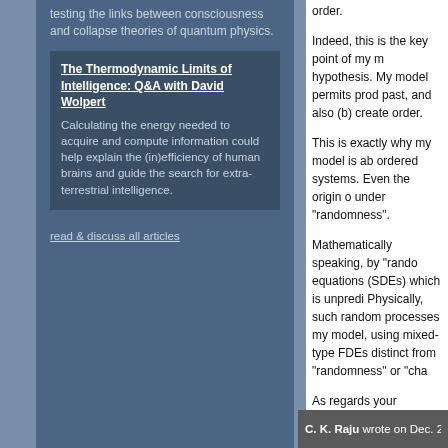testing the links between consciousness and collapse theories of quantum physics.
The Thermodynamic Limits of Intelligence: Q&A with David Wolpert
Calculating the energy needed to acquire and compute information could help explain the (in)efficiency of human brains and guide the search for extra-terrestrial intelligence.
read & discuss all articles
order.
Indeed, this is the key point of my model hypothesis. My model permits proc past, and also (b) create order.
This is exactly why my model is ab ordered systems. Even the origin o under "randomness".
Mathematically speaking, by "rand equations (SDEs) which is unpredi Physically, such random processes my model, using mixed-type FDEs distinct from "randomness" or "cha
As regards your question about po seems to me that this question per RgVeda that only he in the highest
Possibly the cosmic design is partl apparent mundane ability to design
C. K. Raju wrote on Dec. 21, 2008 @ 04:04